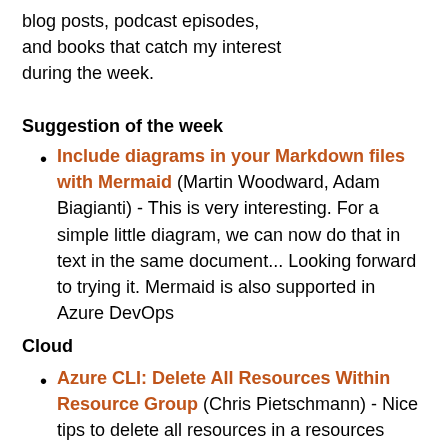blog posts, podcast episodes, and books that catch my interest during the week.
Suggestion of the week
Include diagrams in your Markdown files with Mermaid (Martin Woodward, Adam Biagianti) - This is very interesting. For a simple little diagram, we can now do that in text in the same document... Looking forward to trying it. Mermaid is also supported in Azure DevOps
Cloud
Azure CLI: Delete All Resources Within Resource Group (Chris Pietschmann) - Nice tips to delete all resources in a resources group. However I prefer deploying an empty resource